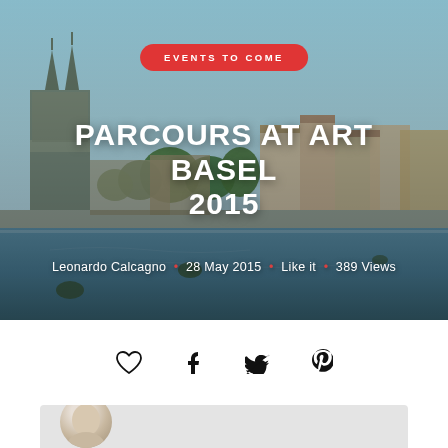[Figure (photo): Hero image of Basel cityscape with cathedral and Rhine river, overlaid with event badge, title, and metadata]
PARCOURS AT ART BASEL 2015
Leonardo Calcagno • 28 May 2015 • Like it • 389 Views
[Figure (infographic): Social sharing icons: heart, Facebook, Twitter, Pinterest]
[Figure (photo): Partial author avatar photo at bottom of page]